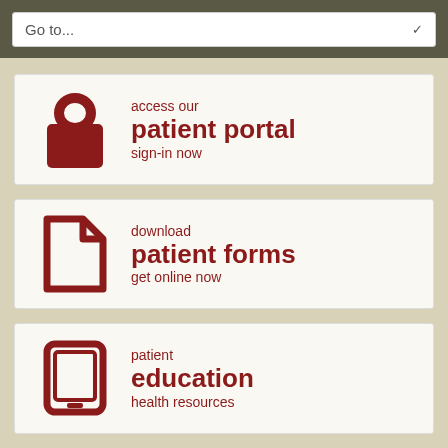[Figure (screenshot): Navigation dropdown bar with 'Go to...' label and chevron arrow]
[Figure (infographic): Card: lock icon with text 'access our patient portal sign-in now']
[Figure (infographic): Card: document/file icon with text 'download patient forms get online now']
[Figure (infographic): Card: tablet/iPad icon with text 'patient education health resources']